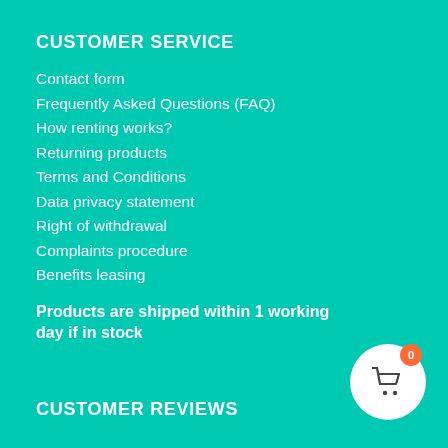CUSTOMER SERVICE
Contact form
Frequently Asked Questions (FAQ)
How renting works?
Returning products
Terms and Conditions
Data privacy statement
Right of withdrawal
Complaints procedure
Benefits leasing
Products are shipped within 1 working day if in stock
CUSTOMER REVIEWS